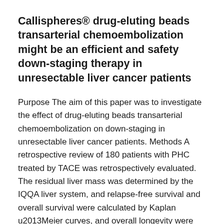Callispheres® drug-eluting beads transarterial chemoembolization might be an efficient and safety down-staging therapy in unresectable liver cancer patients
Purpose The aim of this paper was to investigate the effect of drug-eluting beads transarterial chemoembolization on down-staging in unresectable liver cancer patients. Methods A retrospective review of 180 patients with PHC treated by TACE was retrospectively evaluated. The residual liver mass was determined by the IQQA liver system, and relapse-free survival and overall survival were calculated by Kaplan u2013Meier curves, and overall longevity were determined by Kaplanu2013Meier curves. Conclusions The conversion rate in the DEB-TACE